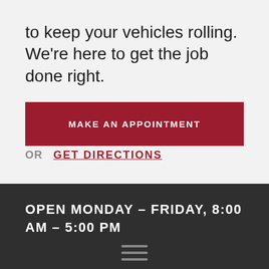to keep your vehicles rolling. We're here to get the job done right.
MAKE AN APPOINTMENT
OR  GET DIRECTIONS
OPEN MONDAY – FRIDAY, 8:00 AM – 5:00 PM